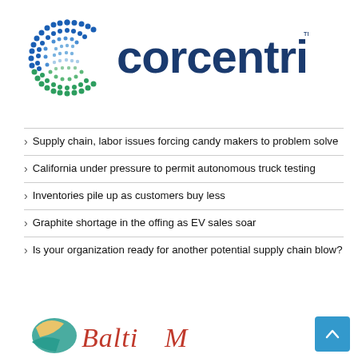[Figure (logo): Corcentric logo: dotted circle 'C' in blue and green gradient on the left, and 'corcentric' text in dark navy blue on the right with TM mark]
Supply chain, labor issues forcing candy makers to problem solve
California under pressure to permit autonomous truck testing
Inventories pile up as customers buy less
Graphite shortage in the offing as EV sales soar
Is your organization ready for another potential supply chain blow?
[Figure (logo): Partial logo at bottom: appears to be 'BaltiMore' or similar company logo with teal bird/crane icon and script text, partially cut off]